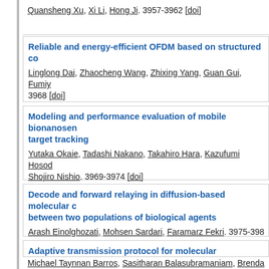Quansheng Xu, Xi Li, Hong Ji. 3957-3962 [doi]
Reliable and energy-efficient OFDM based on structured co...
Linglong Dai, Zhaocheng Wang, Zhixing Yang, Guan Gui, Fumiy... 3968 [doi]
Modeling and performance evaluation of mobile bionanoser... target tracking
Yutaka Okaie, Tadashi Nakano, Takahiro Hara, Kazufumi Hosod... Shojiro Nishio. 3969-3974 [doi]
Decode and forward relaying in diffusion-based molecular c... between two populations of biological agents
Arash Einolghozati, Mohsen Sardari, Faramarz Fekri. 3975-398...
Adaptive transmission protocol for molecular communicati... tissues
Michael Taynnan Barros, Sasitharan Balasubramaniam, Brenda...